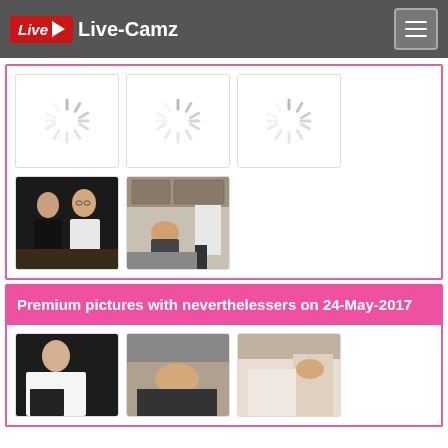Live-Camz
[Figure (photo): Three loading spinner thumbnails in white boxes with pink border]
[Figure (photo): Two photo thumbnails: one showing two people at desk (dark), one showing kitchen scene]
Premium pictures with neverthelessers on 24-May-2017
[Figure (photo): Three photo thumbnails partially visible at bottom of page]